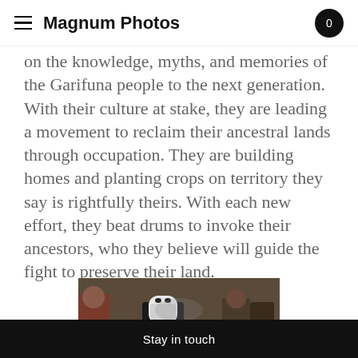Magnum Photos
on the knowledge, myths, and memories of the Garifuna people to the next generation. With their culture at stake, they are leading a movement to reclaim their ancestral lands through occupation. They are building homes and planting crops on territory they say is rightfully theirs. With each new effort, they beat drums to invoke their ancestors, who they believe will guide the fight to preserve their land.
[Figure (photo): A person wearing a white face covering/mask in a crowd scene, possibly a protest or gathering, with fire visible in the background]
Stay in touch